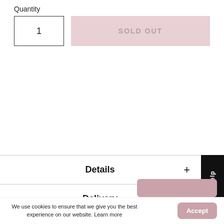Quantity
1
SOLD OUT
Details +
Delivery +
Size Guide +
How to Order +
Need Help
We use cookies to ensure that we give you the best experience on our website. Learn more
Accept